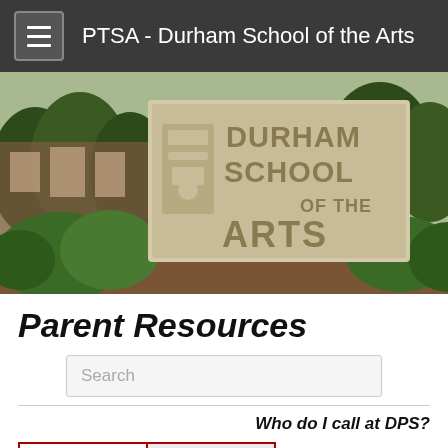PTSA - Durham School of the Arts
[Figure (photo): Outdoor photo of the Durham School of the Arts stone sign with lush green trees/bushes in the background]
Parent Resources
Search
Who do I call at DPS?
|  |  |